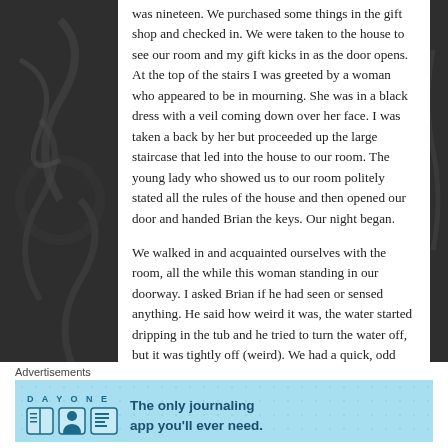was nineteen. We purchased some things in the gift shop and checked in. We were taken to the house to see our room and my gift kicks in as the door opens. At the top of the stairs I was greeted by a woman who appeared to be in mourning. She was in a black dress with a veil coming down over her face. I was taken a back by her but proceeded up the large staircase that led into the house to our room. The young lady who showed us to our room politely stated all the rules of the house and then opened our door and handed Brian the keys. Our night began.
We walked in and acquainted ourselves with the room, all the while this woman standing in our doorway. I asked Brian if he had seen or sensed anything. He said how weird it was, the water started dripping in the tub and he tried to turn the water off, but it was tightly off (weird). We had a quick, odd moment and he left to go get our luggage for the night. I sat in the chair in the corner
Advertisements
[Figure (illustration): DAY ONE app advertisement banner - light blue background with app logo, icons of a book, person, and document, with text 'The only journaling app you'll ever need.']